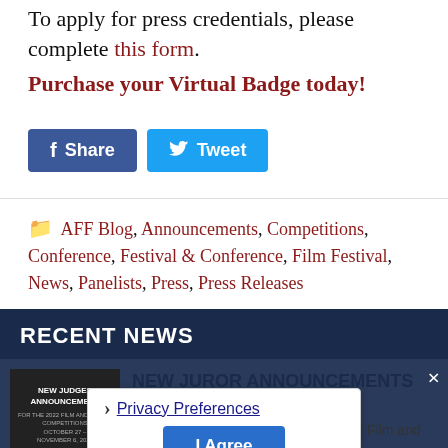To apply for press credentials, please complete this form.
Purchase your Virtual Badge today!
[Figure (other): Social sharing buttons: Share (Facebook, blue) and Tweet (Twitter, light blue)]
AFF Blog, Announcements, Competitions, Conference, Festival & Conference, Film Festival, News, Panelists, Press, Press Releases
RECENT NEWS
[Figure (photo): Thumbnail image with text: NEW JUDGES ANNOUNCEMENT with AFF branding on dark background]
NEW JUROR ANNOUNCEMENTS FOR 2022 COMPETITIONS
Take a look at the 2022 Jurors for the Film and Script Competitions, below!
Privacy Preferences
I Agree